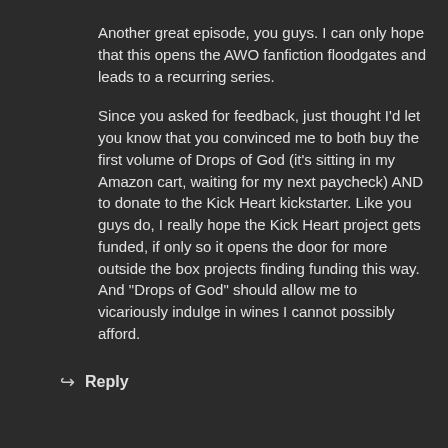Another great episode, you guys. I can only hope that this opens the AWO fanfiction floodgates and leads to a recurring series.
Since you asked for feedback, just thought I'd let you know that you convinced me to both buy the first volume of Drops of God (it's sitting in my Amazon cart, waiting for my next paycheck) AND to donate to the Kick Heart kickstarter. Like you guys do, I really hope the Kick Heart project gets funded, if only so it opens the door for more outside the box projects finding funding this way. And "Drops of God" should allow me to vicariously indulge in wines I cannot possibly afford.
↩ Reply